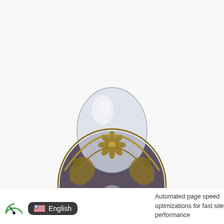[Figure (photo): An ornate antique-style ring or decorative object featuring a clear crystal/glass dome set in an intricate bronze/brass floral filigree setting, resting on a wide circular filigree base with floral and leaf motifs, photographed on a white background.]
[Figure (photo): Small thumbnail image of the same ornate ring/decorative object shown above, inside a white bordered box.]
Automated page speed optimizations for fast site performance